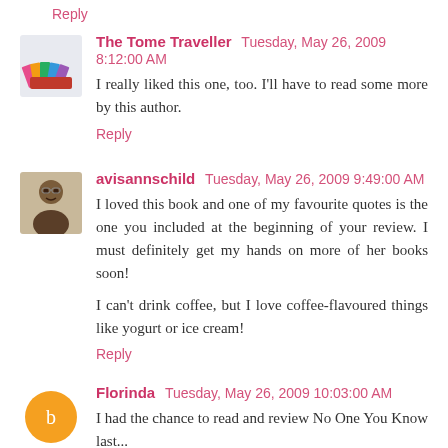Reply
The Tome Traveller  Tuesday, May 26, 2009 8:12:00 AM
I really liked this one, too. I'll have to read some more by this author.
Reply
avisannschild  Tuesday, May 26, 2009 9:49:00 AM
I loved this book and one of my favourite quotes is the one you included at the beginning of your review. I must definitely get my hands on more of her books soon!

I can't drink coffee, but I love coffee-flavoured things like yogurt or ice cream!
Reply
Florinda  Tuesday, May 26, 2009 10:03:00 AM
I had the chance to read and review No One You Know last...